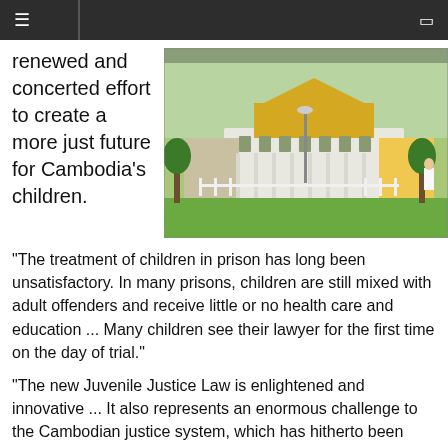≡  ▭
renewed and concerted effort to create a more just future for Cambodia's children.
[Figure (photo): Photograph of a Cambodian royal palace or government building with ornate architecture, green lawns, and trees. A person in white clothing is visible on the right side.]
"The treatment of children in prison has long been unsatisfactory. In many prisons, children are still mixed with adult offenders and receive little or no health care and education ... Many children see their lawyer for the first time on the day of trial."
"The new Juvenile Justice Law is enlightened and innovative ... It also represents an enormous challenge to the Cambodian justice system, which has hitherto been punishment-oriented."
See: The Fight for Children's Rights in Cambodia (PDF - Full Text of this Article)